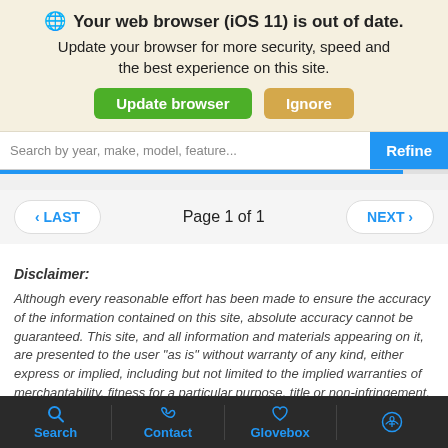[Figure (screenshot): Browser notification banner: 'Your web browser (iOS 11) is out of date. Update your browser for more security, speed and the best experience on this site.' with Update browser (green) and Ignore (tan) buttons.]
[Figure (screenshot): Search bar with placeholder 'Search by year, make, model, feature...' and a blue 'Refine' button on the right, with a blue progress bar below.]
Page 1 of 1
Disclaimer:
Although every reasonable effort has been made to ensure the accuracy of the information contained on this site, absolute accuracy cannot be guaranteed. This site, and all information and materials appearing on it, are presented to the user “as is” without warranty of any kind, either express or implied, including but not limited to the implied warranties of merchantability, fitness for a particular purpose, title or non-infringement. All vehicles are subject to prior sale. Price does not include applicable tax, title, and license. Not
Search  Contact  Glovebox  [accessibility icon]